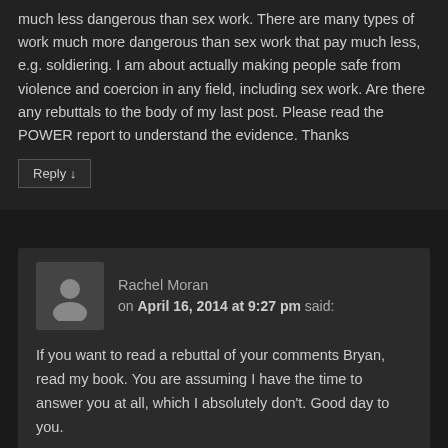much less dangerous than sex work. There are many types of work much more dangerous than sex work that pay much less, e.g. soldiering. I am about actually making people safe from violence and coercion in any field, including sex work. Are there any rebuttals to the body of my last post. Please read the POWER report to understand the evidence. Thanks
Reply ↓
Rachel Moran on April 16, 2014 at 9:27 pm said:
If you want to read a rebuttal of your comments Bryan, read my book. You are assuming I have the time to answer you at all, which I absolutely don't. Good day to you.